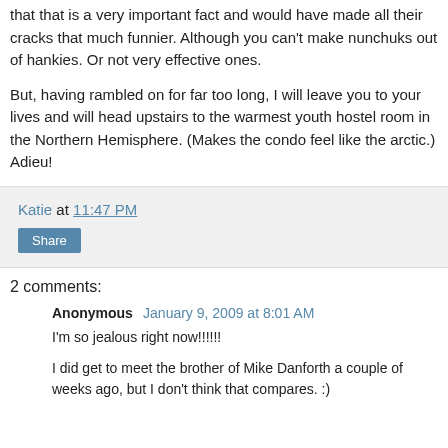that that is a very important fact and would have made all their cracks that much funnier. Although you can't make nunchuks out of hankies. Or not very effective ones.
But, having rambled on for far too long, I will leave you to your lives and will head upstairs to the warmest youth hostel room in the Northern Hemisphere. (Makes the condo feel like the arctic.) Adieu!
Katie at 11:47 PM
Share
2 comments:
Anonymous January 9, 2009 at 8:01 AM
I'm so jealous right now!!!!!!
I did get to meet the brother of Mike Danforth a couple of weeks ago, but I don't think that compares. :)